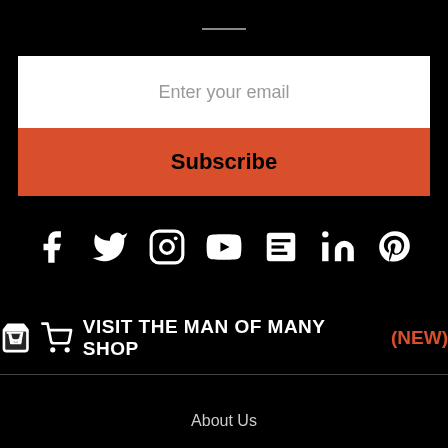[Figure (other): Email input field with placeholder text 'Enter your email']
[Figure (other): Orange Subscribe button]
[Figure (other): Row of social media icons: Facebook, Twitter, Instagram, YouTube, News/Blog, LinkedIn, Pinterest]
🛒 VISIT THE MAN OF MANY SHOP (NEW)
About Us